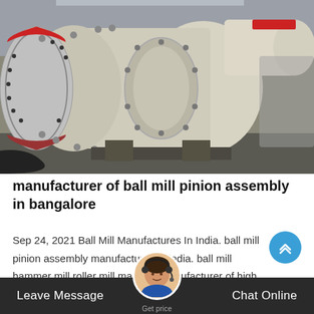[Figure (photo): Photograph of a large industrial ball mill pinion assembly showing cylindrical drum with flange, gear ring on left side painted red, bolts around flanges, and connecting shaft, in a workshop/factory setting.]
manufacturer of ball mill pinion assembly in bangalore
Sep 24, 2021 Ball Mill Manufactures In India. ball mill pinion assembly manufactures in india. ball mill hammer mill roller mill machine manufacturer of high performance micro carbide ball mill 2…
Leave Message  Chat Online